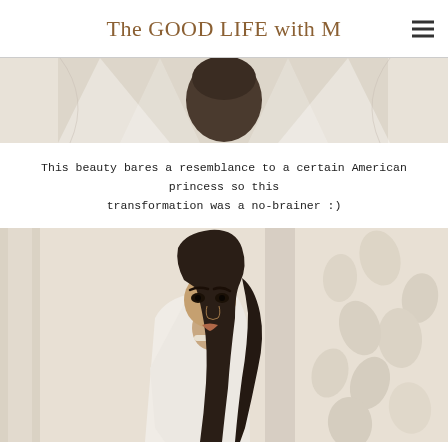The GOOD LIFE with M
[Figure (photo): Top portion of a photo showing a woman from above/behind, with dark hair spread out, wearing a white dress, viewed from top-down perspective]
This beauty bares a resemblance to a certain American princess so this transformation was a no-brainer :)
[Figure (photo): A young woman with long dark curly hair wearing a white dress, posed against a decorative white floral/petal textured wall background, looking over her shoulder at the camera]